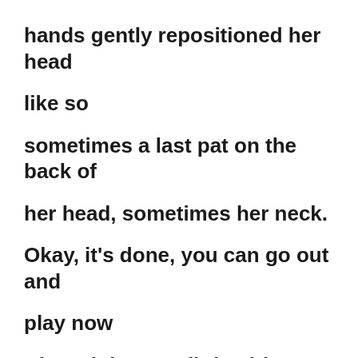hands gently repositioned her head

like so

sometimes a last pat on the back of

her head, sometimes her neck.

Okay, it’s done, you can go out and

play now

Absurd that any little girl would forget